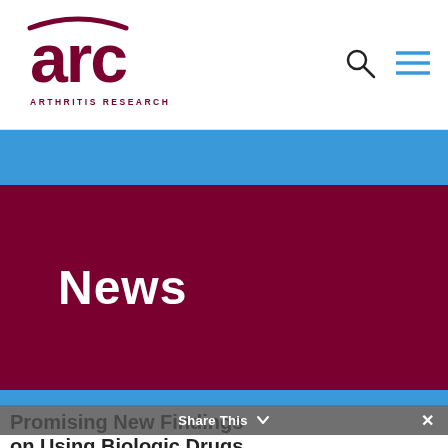[Figure (logo): ARC - Arthritis Research Canada logo in dark maroon/red color with stylized arc letters and full name below]
[Figure (illustration): Website navigation header with search icon (magnifying glass) and hamburger menu icon in blue]
[Figure (illustration): Blue banner strip above the News header section]
News
[Figure (illustration): Blue banner strip below the News header section]
Share This
Promising New Findings on Using Biologic Drugs